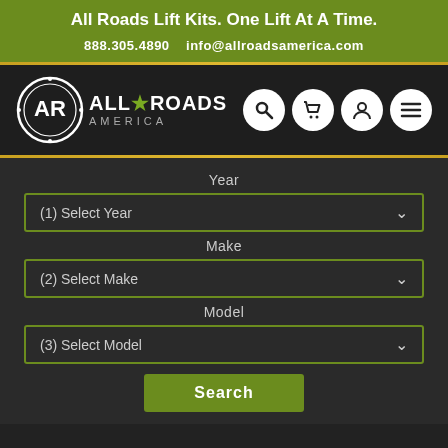All Roads Lift Kits. One Lift At A Time.
888.305.4890   info@allroadsamerica.com
[Figure (logo): All Roads America logo with circular AR badge and text ALL*ROADS AMERICA]
Year
(1) Select Year
Make
(2) Select Make
Model
(3) Select Model
Search